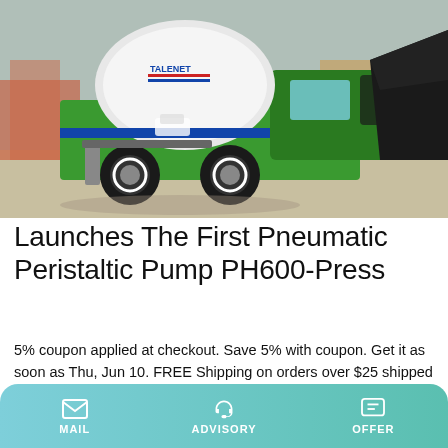[Figure (photo): A green self-loading concrete mixer truck (branded TALENET) with a large black loading bucket on a construction site.]
Launches The First Pneumatic Peristaltic Pump PH600-Press
5% coupon applied at checkout. Save 5% with coupon. Get it as soon as Thu, Jun 10. FREE Shipping on orders over $25 shipped by Amazon. Johnson Pump Dean Guitars 3001.3792 MLX TBZ Dean MLX Guitar Transparent Braziliaburst, 600 GPH (32-47258-003) 4.6 out of 5 stars. 15. Save 23%. $35.94
MAIL   ADVISORY   OFFER